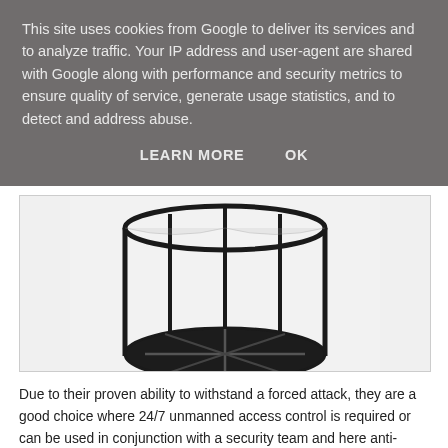This site uses cookies from Google to deliver its services and to analyze traffic. Your IP address and user-agent are shared with Google along with performance and security metrics to ensure quality of service, generate usage statistics, and to detect and address abuse.
LEARN MORE   OK
[Figure (photo): Top-down view of a revolving door showing black metal frame with curved glass panels and a circular base with cross dividers on a white/light grey background.]
Due to their proven ability to withstand a forced attack, they are a good choice where 24/7 unmanned access control is required or can be used in conjunction with a security team and here anti-tailgating detection can trigger an alarm if anyone attempts to make an unauthorised entry.
Our LRS 1175 Revolving Door remains the world's first to